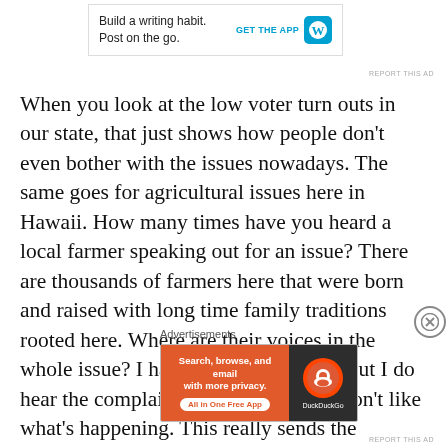[Figure (screenshot): WordPress app advertisement: 'Build a writing habit. Post on the go.' with GET THE APP button and WordPress logo]
REPORT THIS AD
When you look at the low voter turn outs in our state, that just shows how people don’t even bother with the issues nowadays.  The same goes for agricultural issues here in Hawaii.  How many times have you heard a local farmer speaking out for an issue?  There are thousands of farmers here that were born and raised with long time family traditions rooted here.  Where are their voices in the whole issue?  I hardly hear or see of it but I do hear the complaints from others who don’t like what’s happening.  This really sends the message that no one wants to stick
Advertisements
[Figure (screenshot): DuckDuckGo advertisement: 'Search, browse, and email with more privacy. All in One Free App' on orange background with DuckDuckGo logo on dark background]